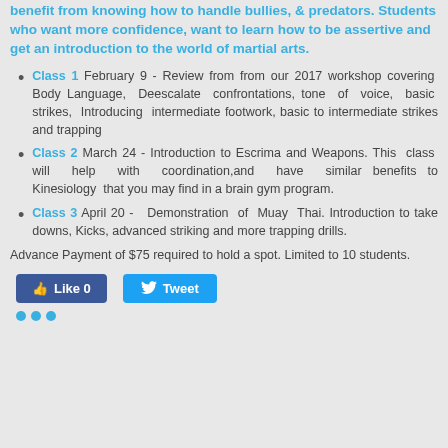benefit from knowing how to handle bullies, & predators. Students who want more confidence, want to learn how to be assertive and get an introduction to the world of martial arts.
Class 1 February 9 - Review from from our 2017 workshop covering Body Language, Deescalate confrontations, tone of voice, basic strikes, Introducing intermediate footwork, basic to intermediate strikes and trapping
Class 2 March 24 - Introduction to Escrima and Weapons. This class will help with coordination,and have similar benefits to Kinesiology that you may find in a brain gym program.
Class 3 April 20 - Demonstration of Muay Thai. Introduction to take downs, Kicks, advanced striking and more trapping drills.
Advance Payment of $75 required to hold a spot. Limited to 10 students.
[Figure (other): Facebook Like button showing 0 likes and a Twitter Tweet button]